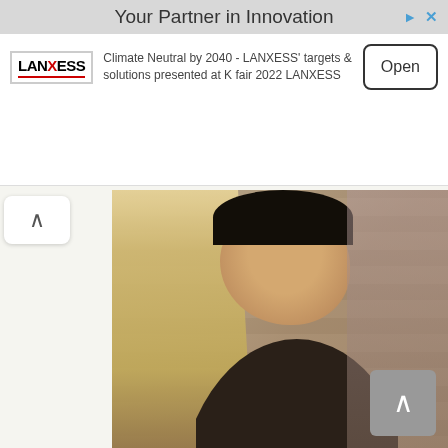[Figure (infographic): LANXESS advertisement banner with logo, headline 'Your Partner in Innovation', body text, and Open button]
[Figure (photo): Two young people sitting in bleachers; a blonde woman on the left and a smiling young man in a sleeveless shirt on the right. Ad badge in bottom-right corner.]
Where Is The Cast Of Freaks And Geeks 22 Years After
BRAINBERRIES